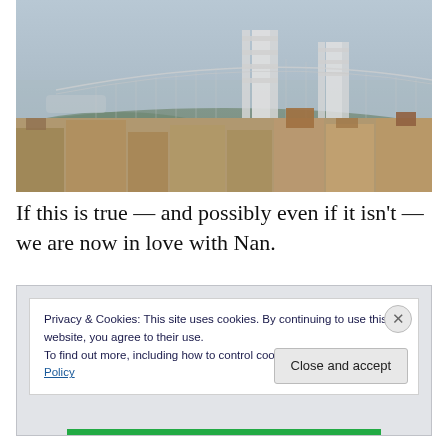[Figure (photo): Photograph of a suspension bridge (George Washington Bridge) visible through hazy sky, with rooftops of urban buildings in the foreground and tree-covered hills in the background.]
If this is true — and possibly even if it isn't — we are now in love with Nan.
Privacy & Cookies: This site uses cookies. By continuing to use this website, you agree to their use.
To find out more, including how to control cookies, see here: Cookie Policy